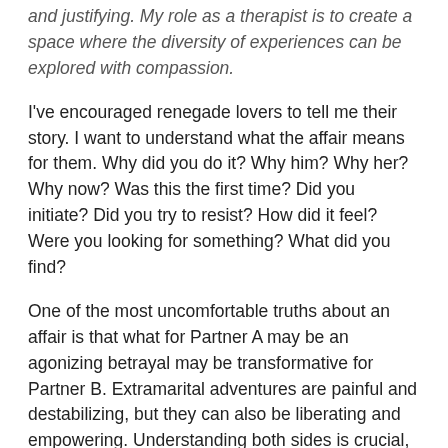and justifying. My role as a therapist is to create a space where the diversity of experiences can be explored with compassion.
I've encouraged renegade lovers to tell me their story. I want to understand what the affair means for them. Why did you do it? Why him? Why her? Why now? Was this the first time? Did you initiate? Did you try to resist? How did it feel? Were you looking for something? What did you find?
One of the most uncomfortable truths about an affair is that what for Partner A may be an agonizing betrayal may be transformative for Partner B. Extramarital adventures are painful and destabilizing, but they can also be liberating and empowering. Understanding both sides is crucial, whether a couple chooses to end the relationship or intends to stay together, to rebuild and revitalize.